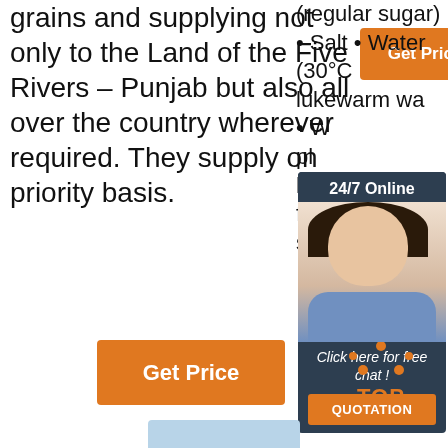grains and supplying not only to the Land of the Five Rivers – Punjab but also all over the country wherever required. They supply on priority basis.
[Figure (other): Orange 'Get Price' button (top right area)]
(regular sugar) • Salt • Water (30°C lukewarm wa...
[Figure (other): 24/7 Online chat widget with photo of a woman wearing a headset, 'Click here for free chat!' text, and a QUOTATION button]
[Figure (other): Orange 'Get Price' button (bottom left)]
[Figure (other): TOP badge with orange dots arranged in triangle and orange TOP text]
[Figure (other): Light blue bar at bottom center]